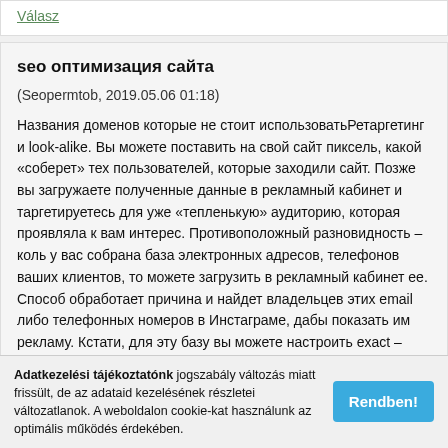Válasz
seo оптимизация сайта
(Seopermtob, 2019.05.06 01:18)
Названия доменов которые не стоит использоватьРетаргетинг и look-alike. Вы можете поставить на свой сайт пиксель, какой «соберет» тех пользователей, которые заходили сайт. Позже вы загружаете полученные данные в рекламный кабинет и таргетируетесь для уже «тепленькую» аудиторию, которая проявляла к вам интерес. Противоположный разновидность – коль у вас собрана база электронных адресов, телефонов ваших клиентов, то можете загрузить в рекламный кабинет ее. Способ обработает причина и найдет владельцев этих email либо телефонных номеров в Инстаграме, дабы показать им рекламу. Кстати, для эту базу вы можете настроить exact – алгоритм поиска аудитории, которая похожа для вашу исходную.Joomla. Про этот движок дозволено удаваться вконец долгое период перебирая однако его плюсы и минусы. У данного движка закусить одна далеко большая
Adatkezelési tájékoztatónk jogszabály változás miatt frissült, de az adataid kezelésének részletei változatlanok. A weboldalon cookie-kat használunk az optimális működés érdekében.